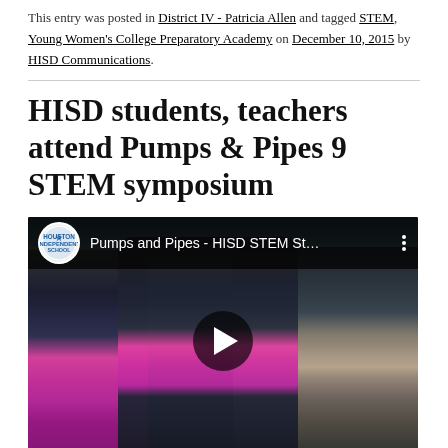This entry was posted in District IV - Patricia Allen and tagged STEM, Young Women's College Preparatory Academy on December 10, 2015 by HISD Communications.
HISD students, teachers attend Pumps & Pipes 9 STEM symposium
[Figure (screenshot): YouTube video thumbnail showing three students being interviewed outdoors, with video title 'Pumps and Pipes - HISD STEM St...' and a play button overlay. The video features a HISD logo badge at the top left.]